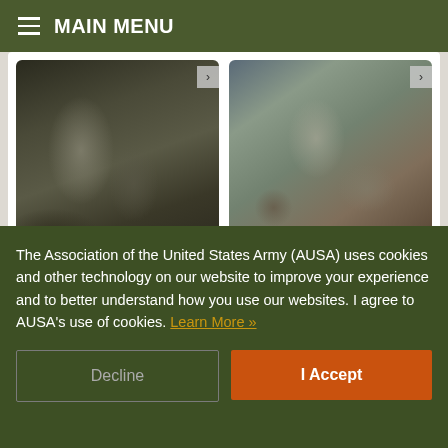MAIN MENU
[Figure (photo): Military soldier near heavy equipment, 11 days ago]
11 days ago
[Figure (photo): Military soldiers in field with gear, 8 days ago]
8 days ago
The Association of the United States Army (AUSA) uses cookies and other technology on our website to improve your experience and to better understand how you use our websites. I agree to AUSA's use of cookies. Learn More »